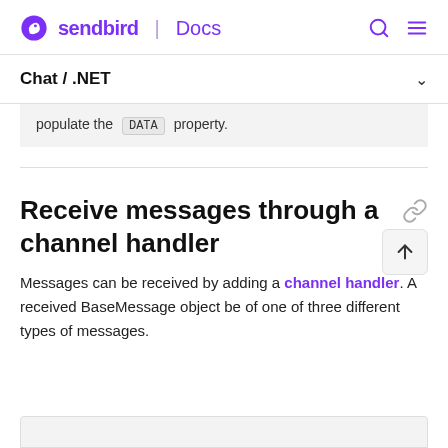sendbird | Docs
Chat / .NET
populate the DATA property.
Receive messages through a channel handler
Messages can be received by adding a channel handler. A received BaseMessage object be of one of three different types of messages.